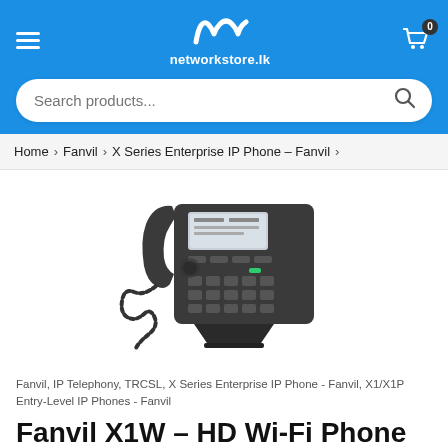[Figure (screenshot): networkstore.lk website header with logo, hamburger menu, cart icon with badge 0, and search bar]
Home > Fanvil > X Series Enterprise IP Phone - Fanvil >
[Figure (photo): Fanvil X1W HD Wi-Fi IP phone, black desktop phone with handset, keypad, and small LCD screen]
Fanvil, IP Telephony, TRCSL, X Series Enterprise IP Phone - Fanvil, X1/X1P Entry-Level IP Phones - Fanvil
Fanvil X1W – HD Wi-Fi Phone